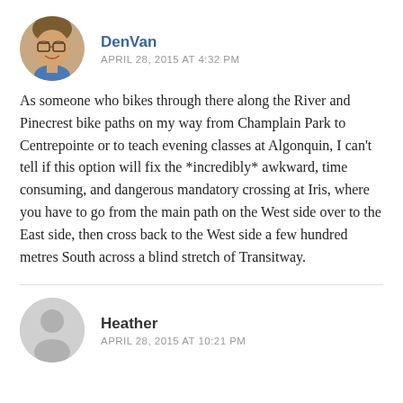[Figure (photo): Circular avatar photo of DenVan, a smiling man with glasses]
DenVan
APRIL 28, 2015 AT 4:32 PM
As someone who bikes through there along the River and Pinecrest bike paths on my way from Champlain Park to Centrepointe or to teach evening classes at Algonquin, I can’t tell if this option will fix the *incredibly* awkward, time consuming, and dangerous mandatory crossing at Iris, where you have to go from the main path on the West side over to the East side, then cross back to the West side a few hundred metres South across a blind stretch of Transitway.
[Figure (illustration): Circular grey placeholder avatar for Heather]
Heather
APRIL 28, 2015 AT 10:21 PM